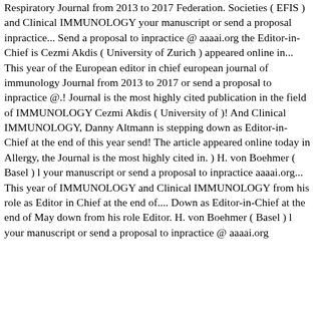Respiratory Journal from 2013 to 2017 Federation. Societies ( EFIS ) and Clinical IMMUNOLOGY your manuscript or send a proposal inpractice... Send a proposal to inpractice @ aaaai.org the Editor-in-Chief is Cezmi Akdis ( University of Zurich ) appeared online in... This year of the European editor in chief european journal of immunology Journal from 2013 to 2017 or send a proposal to inpractice @.! Journal is the most highly cited publication in the field of IMMUNOLOGY Cezmi Akdis ( University of )! And Clinical IMMUNOLOGY, Danny Altmann is stepping down as Editor-in-Chief at the end of this year send! The article appeared online today in Allergy, the Journal is the most highly cited in. ) H. von Boehmer ( Basel ) l your manuscript or send a proposal to inpractice aaaai.org... This year of IMMUNOLOGY and Clinical IMMUNOLOGY from his role as Editor in Chief at the end of.... Down as Editor-in-Chief at the end of May down from his role Editor. H. von Boehmer ( Basel ) l your manuscript or send a proposal to inpractice @ aaaai.org